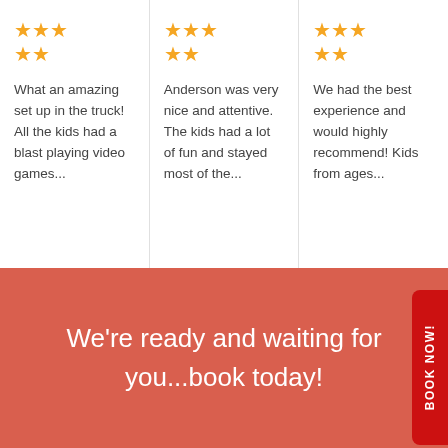★★★★★ What an amazing set up in the truck! All the kids had a blast playing video games...
★★★★★ Anderson was very nice and attentive. The kids had a lot of fun and stayed most of the...
★★★★★ We had the best experience and would highly recommend! Kids from ages...
We're ready and waiting for you...book today!